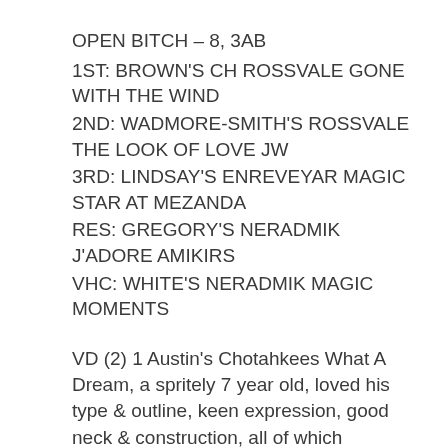OPEN BITCH – 8, 3AB
1ST: BROWN'S CH ROSSVALE GONE WITH THE WIND
2ND: WADMORE-SMITH'S ROSSVALE THE LOOK OF LOVE JW
3RD: LINDSAY'S ENREVEYAR MAGIC STAR AT MEZANDA
RES: GREGORY'S NERADMIK J'ADORE AMIKIRS
VHC: WHITE'S NERADMIK MAGIC MOMENTS
VD (2) 1 Austin's Chotahkees What A Dream, a spritely 7 year old, loved his type & outline, keen expression, good neck & construction, all of which showed in his action; 2 Thomas' Torrikees The Clansman of Sareveta, at 10 years old starting to